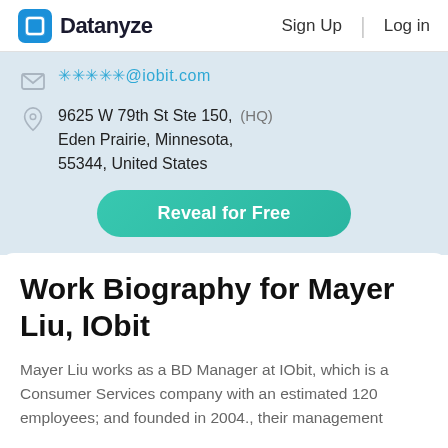Datanyze  Sign Up  Log in
*****@iobit.com
9625 W 79th St Ste 150, Eden Prairie, Minnesota, 55344, United States (HQ)
Reveal for Free
Work Biography for Mayer Liu, IObit
Mayer Liu works as a BD Manager at IObit, which is a Consumer Services company with an estimated 120 employees; and founded in 2004., their management